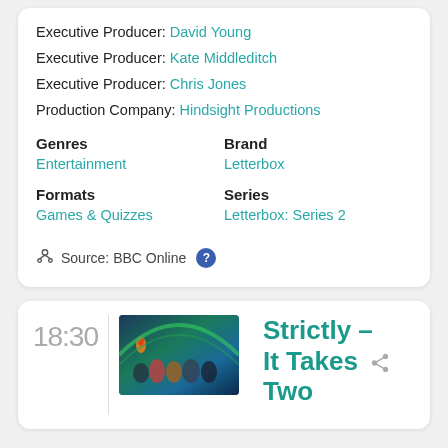Executive Producer: David Young
Executive Producer: Kate Middleditch
Executive Producer: Chris Jones
Production Company: Hindsight Productions
Genres: Entertainment
Brand: Letterbox
Formats: Games & Quizzes
Series: Letterbox: Series 2
Source: BBC Online
18:30
[Figure (photo): Thumbnail image of TV show Strictly - It Takes Two, showing group of people on colorful stage set]
Strictly - It Takes Two